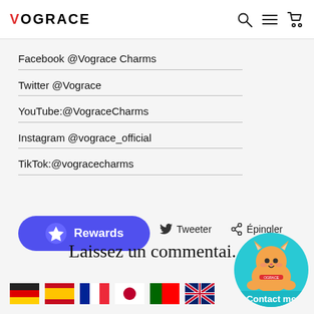VOGRACE
Facebook @Vograce Charms
Twitter @Vograce
YouTube:@VograceCharms
Instagram @vograce_official
TikTok:@vogracecharms
[Figure (illustration): Blue rounded button with star icon labeled Rewards]
Tweeter
Épingler
Laissez un commentaire
[Figure (illustration): Row of country flag icons: Germany, Spain, France, Japan, Portugal, UK]
[Figure (illustration): Circular teal Contact me button with Vograce cat mascot]